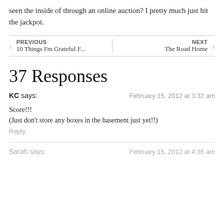seen the inside of through an online auction? I pretty much just hit the jackpot.
PREVIOUS
10 Things I'm Grateful F...
NEXT
The Road Home
37 Responses
KC says:
February 15, 2012 at 3:32 am
Score!!!
(Just don't store any boxes in the basement just yet!!)
Reply
Sarah says:
February 15, 2012 at 4:35 am